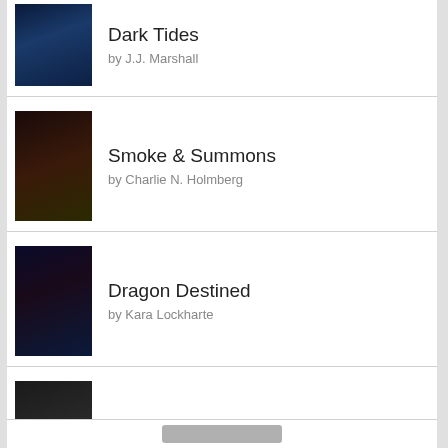Dark Tides by J.J. Marshall
Smoke & Summons by Charlie N. Holmberg
Dragon Destined by Kara Lockharte
The Death Factory by Greg Iles
Rose Petal Graves by Olivia Wildenstein